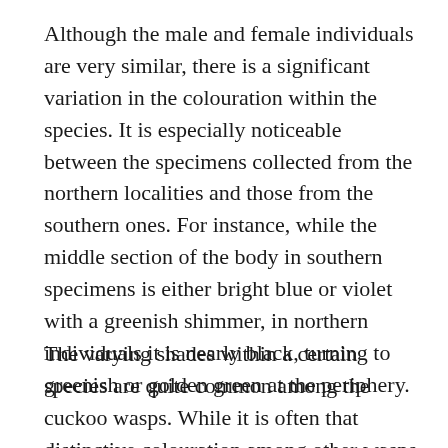Although the male and female individuals are very similar, there is a significant variation in the colouration within the species. It is especially noticeable between the specimens collected from the northern localities and those from the southern ones. For instance, while the middle section of the body in southern specimens is either bright blue or violet with a greenish shimmer, in northern individuals it is nearly black, turning to greenish or golden green at the periphery.
The varying shades within a certain species are quite common among the cuckoo wasps. While it is often that distinctive colouration among other wasps and insects indicates their